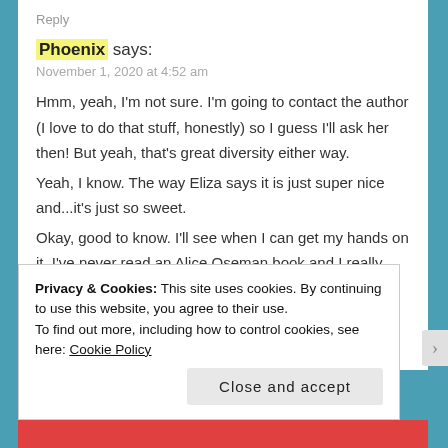Reply
Phoenix says:
November 1, 2020 at 4:52 am
Hmm, yeah, I'm not sure. I'm going to contact the author (I love to do that stuff, honestly) so I guess I'll ask her then! But yeah, that's great diversity either way.
Yeah, I know. The way Eliza says it is just super nice and...it's just so sweet.
Okay, good to know. I'll see when I can get my hands on it. I've never read an Alice Oseman book and I really
Privacy & Cookies: This site uses cookies. By continuing to use this website, you agree to their use.
To find out more, including how to control cookies, see here: Cookie Policy
Close and accept